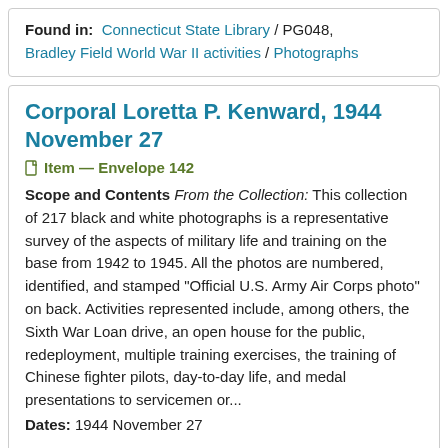Found in: Connecticut State Library / PG048, Bradley Field World War II activities / Photographs
Corporal Loretta P. Kenward, 1944 November 27
Item — Envelope 142
Scope and Contents From the Collection: This collection of 217 black and white photographs is a representative survey of the aspects of military life and training on the base from 1942 to 1945. All the photos are numbered, identified, and stamped "Official U.S. Army Air Corps photo" on back. Activities represented include, among others, the Sixth War Loan drive, an open house for the public, redeployment, multiple training exercises, the training of Chinese fighter pilots, day-to-day life, and medal presentations to servicemen or...
Dates: 1944 November 27
Found in: Connecticut State Library / PG048, Bradley Field World War II activities / Photographs